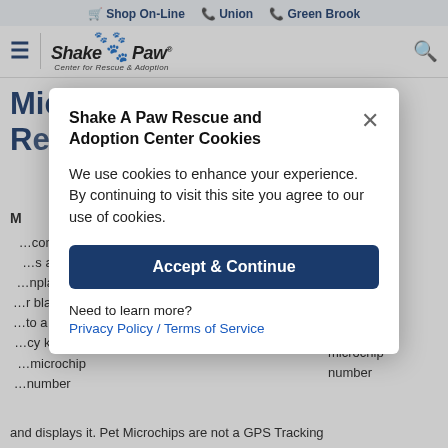Shop On-Line  Union  Green Brook
[Figure (logo): Shake A Paw Center for Rescue & Adoption logo with paw prints]
Microchip Information and Registration
Background text about microchips partially visible behind modal
[Figure (screenshot): Cookie consent modal overlay: 'Shake A Paw Rescue and Adoption Center Cookies' with accept button and privacy policy link]
and displays it. Pet Microchips are not a GPS Tracking